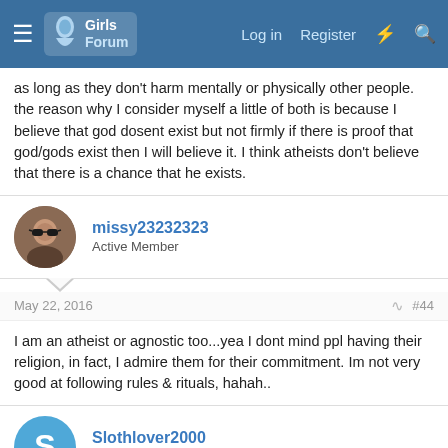Girls Forum — Log in   Register
as long as they don't harm mentally or physically other people. the reason why I consider myself a little of both is because I believe that god dosent exist but not firmly if there is proof that god/gods exist then I will believe it. I think atheists don't believe that there is a chance that he exists.
missy23232323
Active Member
May 22, 2016  #44
I am an atheist or agnostic too...yea I dont mind ppl having their religion, in fact, I admire them for their commitment. Im not very good at following rules & rituals, hahah..
Slothlover2000
New Member